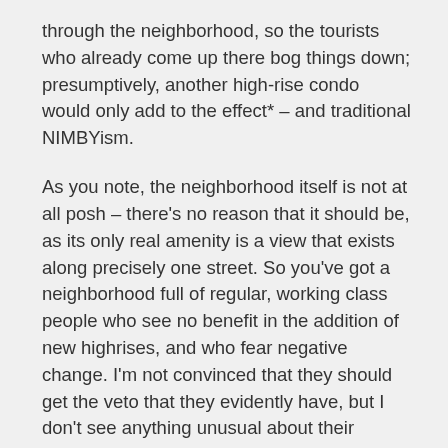through the neighborhood, so the tourists who already come up there bog things down; presumptively, another high-rise condo would only add to the effect* – and traditional NIMBYism.
As you note, the neighborhood itself is not at all posh – there's no reason that it should be, as its only real amenity is a view that exists along precisely one street. So you've got a neighborhood full of regular, working class people who see no benefit in the addition of new highrises, and who fear negative change. I'm not convinced that they should get the veto that they evidently have, but I don't see anything unusual about their position.